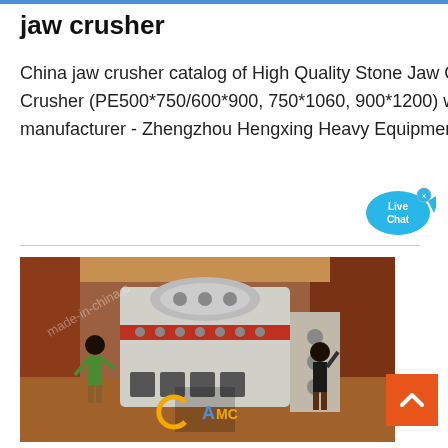jaw crusher
China jaw crusher catalog of High Quality Stone Jaw Crusher for Mountain Rock, Single Toggle Jaw Crusher (PE500*750/600*900, 750*1060, 900*1200) with Competitive Price provided by China manufacturer - Zhengzhou Hengxing Heavy Equipment Co., Ltd., p
[Figure (photo): Two workers operating a large jaw crusher machine at a mining or quarrying site, with red-brown earth and construction materials in the background. A logo reading 'CAMIC' is visible.]